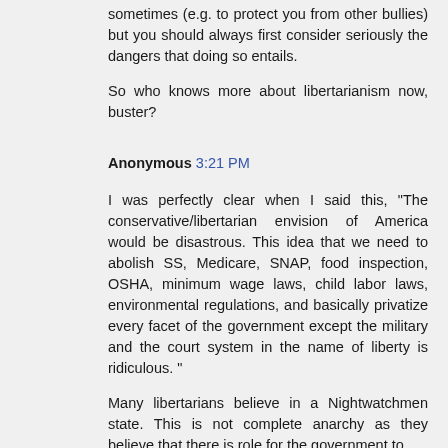sometimes (e.g. to protect you from other bullies) but you should always first consider seriously the dangers that doing so entails.
So who knows more about libertarianism now, buster?
Anonymous 3:21 PM
I was perfectly clear when I said this, "The conservative/libertarian envision of America would be disastrous. This idea that we need to abolish SS, Medicare, SNAP, food inspection, OSHA, minimum wage laws, child labor laws, environmental regulations, and basically privatize every facet of the government except the military and the court system in the name of liberty is ridiculous. "
Many libertarians believe in a Nightwatchmen state. This is not complete anarchy as they believe that there is role for the government to